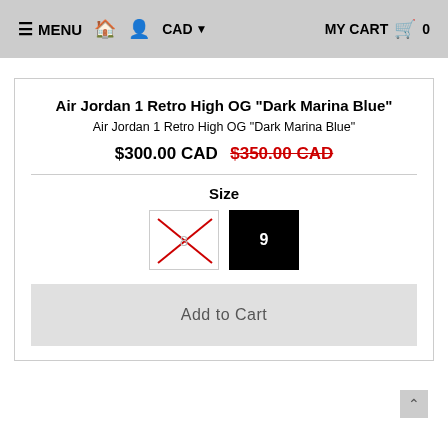≡ MENU  🏠  👤  CAD ▾  MY CART 🛒 0
Air Jordan 1 Retro High OG "Dark Marina Blue"
Air Jordan 1 Retro High OG "Dark Marina Blue"
$300.00 CAD  $350.00 CAD
Size
8  9
Add to Cart